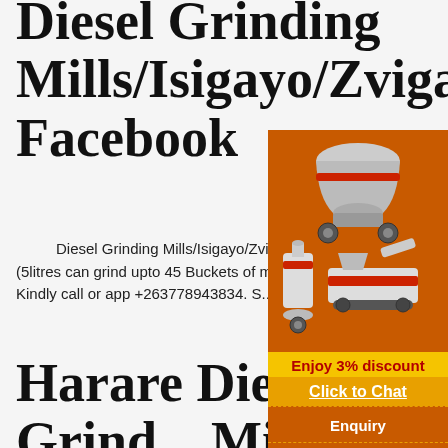Diesel Grinding Mills/Isigayo/Zvigayo - Home Facebook
Diesel Grinding Mills/Isigayo/Zvigayo. May 24, 2020 . GRINDING MILLs forsale.  Diesel powered e... (5litres can grind upto 45 Buckets of maize)  p... fitting.  1year guarantee. USD $1,500 ... For m... inquiries Kindly call or app +263778943834. S...
Harare Diesel-engines For Grind... Mills Crusher Mills...
...
Harare directory – Welcome to Africlicks. . Lister diesel engines, water pumps, grinding mills all stationary
[Figure (infographic): Orange advertisement panel with images of industrial grinding/crushing machines, a yellow 'Enjoy 3% discount' bar, an orange 'Click to Chat' bar, an 'Enquiry' section, and email limingjlmofen@sina.com]